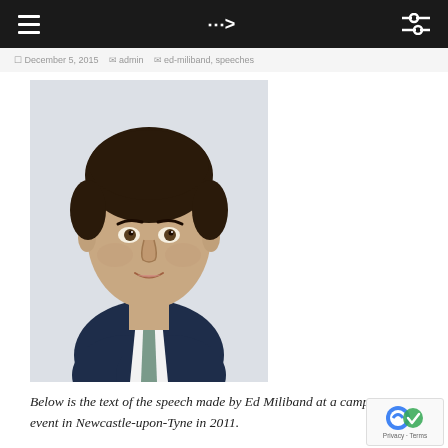Navigation bar with hamburger menu and shuffle icon
December 5, 2015  admin  ed-miliband, speeches
[Figure (photo): Headshot portrait of Ed Miliband wearing a dark navy suit, white shirt, and grey-green tie against a light grey background.]
Below is the text of the speech made by Ed Miliband at a campaign event in Newcastle-upon-Tyne in 2011.